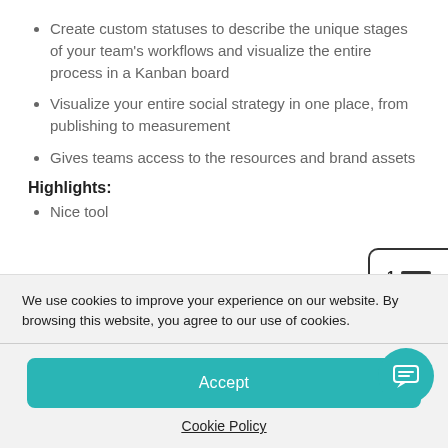Create custom statuses to describe the unique stages of your team's workflows and visualize the entire process in a Kanban board
Visualize your entire social strategy in one place, from publishing to measurement
Gives teams access to the resources and brand assets
Highlights:
Nice tool
[Figure (illustration): Icon showing a numbered list (1, 2, 3) with horizontal lines, partially clipped at the right edge]
We use cookies to improve your experience on our website. By browsing this website, you agree to our use of cookies.
Accept
Cookie Policy